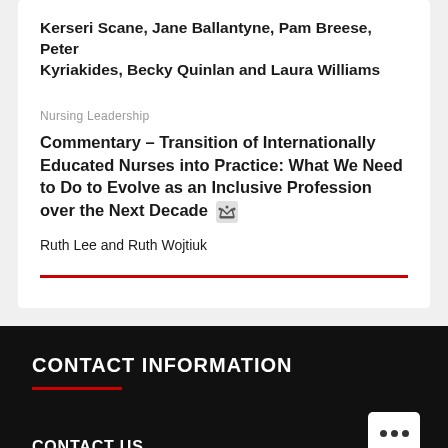Kerseri Scane, Jane Ballantyne, Pam Breese, Peter Kyriakides, Becky Quinlan and Laura Williams
Nursing Leadership
Commentary – Transition of Internationally Educated Nurses into Practice: What We Need to Do to Evolve as an Inclusive Profession over the Next Decade
Ruth Lee and Ruth Wojtiuk
CONTACT INFORMATION
CONTACT US